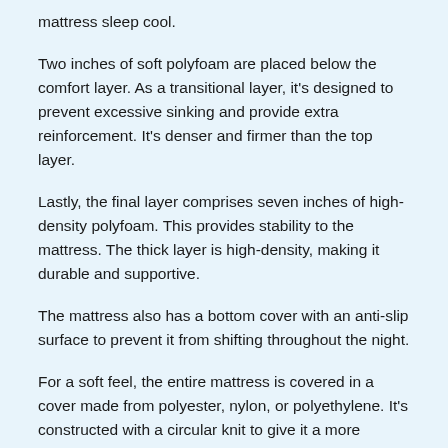mattress sleep cool.
Two inches of soft polyfoam are placed below the comfort layer. As a transitional layer, it's designed to prevent excessive sinking and provide extra reinforcement. It's denser and firmer than the top layer.
Lastly, the final layer comprises seven inches of high-density polyfoam. This provides stability to the mattress. The thick layer is high-density, making it durable and supportive.
The mattress also has a bottom cover with an anti-slip surface to prevent it from shifting throughout the night.
For a soft feel, the entire mattress is covered in a cover made from polyester, nylon, or polyethylene. It's constructed with a circular knit to give it a more comfortable feel. The polyethylene material makes the cover highly breathable and keeps the